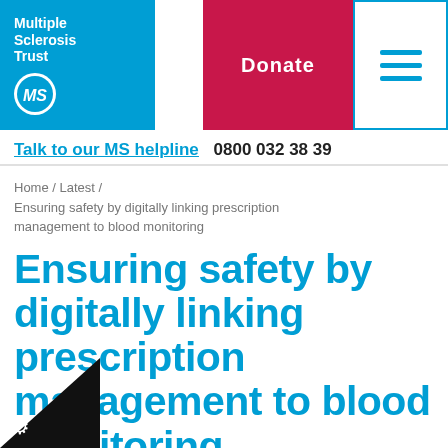[Figure (logo): Multiple Sclerosis Trust logo in blue with white text and MS circle icon]
[Figure (other): Donate button in crimson/pink with white bold text]
[Figure (other): Hamburger menu icon with three horizontal lines in blue border box]
Talk to our MS helpline  0800 032 38 39
Home / Latest / Ensuring safety by digitally linking prescription management to blood monitoring
Ensuring safety by digitally linking prescription management to blood monitoring